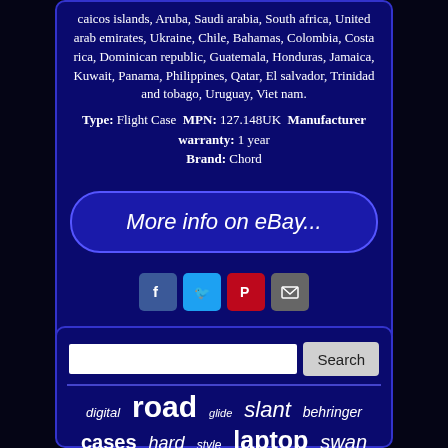caicos islands, Aruba, Saudi arabia, South africa, United arab emirates, Ukraine, Chile, Bahamas, Colombia, Costa rica, Dominican republic, Guatemala, Honduras, Jamaica, Kuwait, Panama, Philippines, Qatar, El salvador, Trinidad and tobago, Uruguay, Viet nam.
Type: Flight Case MPN: 127.148UK Manufacturer warranty: 1 year Brand: Chord
[Figure (screenshot): eBay listing button - blue rounded rectangle with text 'More info on eBay...']
[Figure (infographic): Social sharing icons: Facebook (blue), Twitter (light blue), Pinterest (red), Email (grey)]
Search input box with Search button
digital road glide slant behringer cases hard style laptop swan